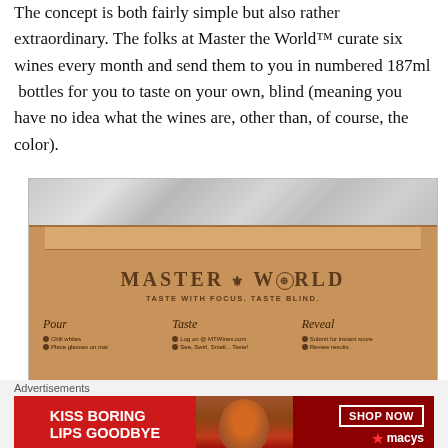The concept is both fairly simple but also rather extraordinary. The folks at Master the World™ curate six wines every month and send them to you in numbered 187ml  bottles for you to taste on your own, blind (meaning you have no idea what the wines are, other than, of course, the color).
[Figure (photo): Photo of a Master the World wine tasting kit box, open, showing the cardboard interior with the brand name 'MASTER THE WORLD' and tagline 'TASTE WITH FOCUS. TASTE BLIND.' along with three columns: Pour (Chill whites, Place glasses on mat), Taste (Log on @ MTWines.com, See, Swirl, Smell... Taste!), Reveal (Submit for instant score, Review results). A close/X button appears at the bottom right.]
Advertisements
[Figure (photo): Advertisement banner for Macy's lipstick: 'KISS BORING LIPS GOODBYE' with a 'SHOP NOW' button and Macy's star logo on a dark red background.]